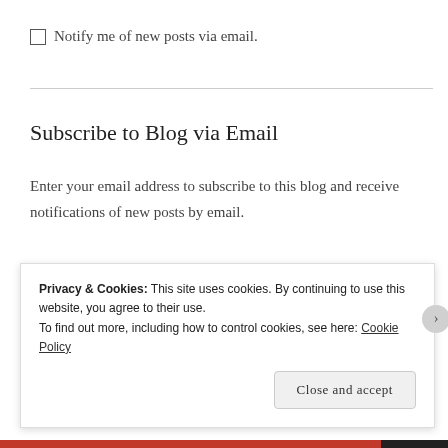Notify me of new posts via email.
Subscribe to Blog via Email
Enter your email address to subscribe to this blog and receive notifications of new posts by email.
Privacy & Cookies: This site uses cookies. By continuing to use this website, you agree to their use. To find out more, including how to control cookies, see here: Cookie Policy
Close and accept